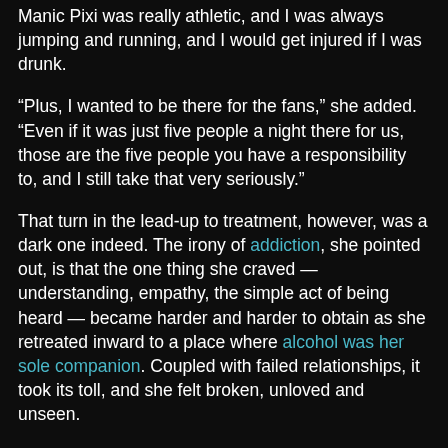Manic Pixi was really athletic, and I was always jumping and running, and I would get injured if I was drunk.
“Plus, I wanted to be there for the fans,” she added. “Even if it was just five people a night there for us, those are the five people you have a responsibility to, and I still take that very seriously.”
That turn in the lead-up to treatment, however, was a dark one indeed. The irony of addiction, she pointed out, is that the one thing she craved — understanding, empathy, the simple act of being heard — became harder and harder to obtain as she retreated inward to a place where alcohol was her sole companion. Coupled with failed relationships, it took its toll, and she felt broken, unloved and unseen.
“I felt like I surrounded myself with people who, as much I loved them and they loved me, were really not giving me what I was desperately craving, which was to feel understood,” she said. “And I just kept feeling more and more alone and hating myself and feeling like I had to hide myself, and that’s when the drinking switched over from what I considered a normal drinking lifestyle for a